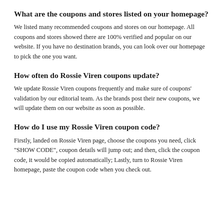What are the coupons and stores listed on your homepage?
We listed many recommended coupons and stores on our homepage. All coupons and stores showed there are 100% verified and popular on our website. If you have no destination brands, you can look over our homepage to pick the one you want.
How often do Rossie Viren coupons update?
We update Rossie Viren coupons frequently and make sure of coupons' validation by our editorial team. As the brands post their new coupons, we will update them on our website as soon as possible.
How do I use my Rossie Viren coupon code?
Firstly, landed on Rossie Viren page, choose the coupons you need, click "SHOW CODE", coupon details will jump out; and then, click the coupon code, it would be copied automatically; Lastly, turn to Rossie Viren homepage, paste the coupon code when you check out.